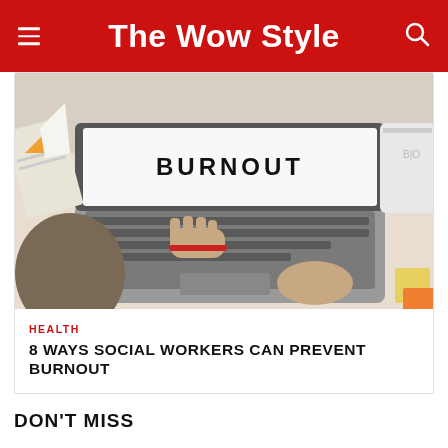The Wow Style
[Figure (photo): Person working on a laptop with the word BURNOUT displayed on the screen, viewed from above. Hands typing on keyboard, notebook and other items on desk.]
HEALTH
8 WAYS SOCIAL WORKERS CAN PREVENT BURNOUT
DON'T MISS